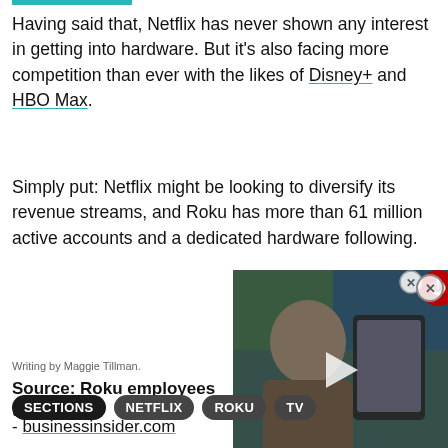Having said that, Netflix has never shown any interest in getting into hardware. But it's also facing more competition than ever with the likes of Disney+ and HBO Max.
Simply put: Netflix might be looking to diversify its revenue streams, and Roku has more than 61 million active accounts and a dedicated hardware following.
[Figure (photo): Video thumbnail showing a person holding a tablet device, with a play button overlay. Red power icon in top-right corner and close button (X) visible.]
Writing by Maggie Tillman.
Source: Roku employees talk p... - businessinsider.com